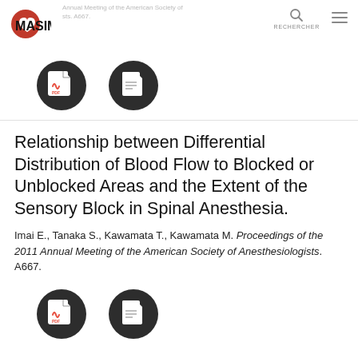Masimo — Annual Meeting of the American Society of Anesthesiologists, A667
[Figure (logo): Masimo logo with red heart-check icon and bold MASIMO text]
[Figure (other): Two dark circular document/PDF icon buttons]
Relationship between Differential Distribution of Blood Flow to Blocked or Unblocked Areas and the Extent of the Sensory Block in Spinal Anesthesia.
Imai E., Tanaka S., Kawamata T., Kawamata M. Proceedings of the 2011 Annual Meeting of the American Society of Anesthesiologists. A667.
[Figure (other): Two dark circular document/PDF icon buttons (bottom)]